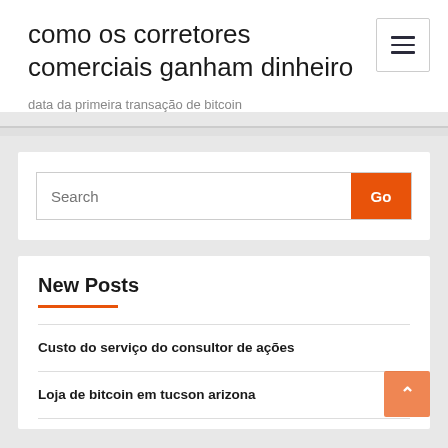como os corretores comerciais ganham dinheiro
data da primeira transação de bitcoin
[Figure (other): Hamburger menu button with three horizontal lines]
New Posts
Custo do serviço do consultor de ações
Loja de bitcoin em tucson arizona